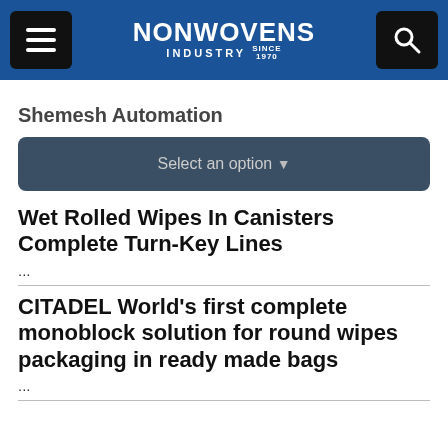NONWOVENS INDUSTRY SINCE 1970
Shemesh Automation
Select an option
Wet Rolled Wipes In Canisters Complete Turn-Key Lines
...
CITADEL World's first complete monoblock solution for round wipes packaging in ready made bags
...